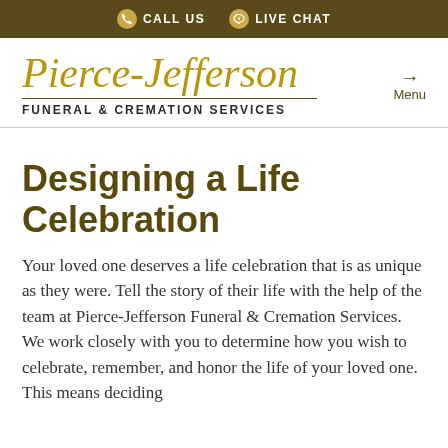CALL US   LIVE CHAT
[Figure (logo): Pierce-Jefferson Funeral & Cremation Services logo with script text and horizontal divider]
Designing a Life Celebration
Your loved one deserves a life celebration that is as unique as they were. Tell the story of their life with the help of the team at Pierce-Jefferson Funeral & Cremation Services. We work closely with you to determine how you wish to celebrate, remember, and honor the life of your loved one. This means deciding